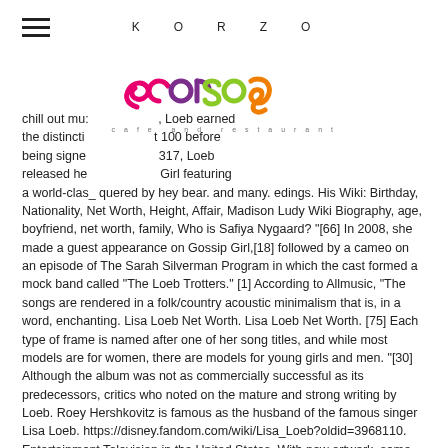KORZO
[Figure (logo): Corso cafe and restaurant logo — colorful lettering with circular design elements in pink, purple, green, and orange]
chill out mu: , Loeb earned the distincti t 100 before being signe 317, Loeb released he Girl featuring a world-clas quered by hey bear. and many. edings. His Wiki: Birthday, Nationality, Net Worth, Height, Affair, Madison Ludy Wiki Biography, age, boyfriend, net worth, family, Who is Safiya Nygaard? "[66] In 2008, she made a guest appearance on Gossip Girl,[18] followed by a cameo on an episode of The Sarah Silverman Program in which the cast formed a mock band called "The Loeb Trotters." [1] According to Allmusic, "The songs are rendered in a folk/country acoustic minimalism that is, in a word, enchanting. Lisa Loeb Net Worth. Lisa Loeb Net Worth. [75] Each type of frame is named after one of her song titles, and while most models are for women, there are models for young girls and men. "[30] Although the album was not as commercially successful as its predecessors, critics who noted on the mature and strong writing by Loeb. Roey Hershkovitz is famous as the husband of the famous singer Lisa Loeb. https://disney.fandom.com/wiki/Lisa_Loeb?oldid=3968110. Entertainment Television in the United States. With new artwork, some songs added and some removed, Cake and Pie was re-launched as Hello Lisa, a play on Sanrio's signature Hello Kitty, who appears on the album cover wearing Lisa Loeb's trademark glasses.[1]. Eyal Hershkovitz is a fictional character from the 2013 film Auschwitz on My Mind. Concerning his early life, he was born and raised in the USA by his parents Debra C. Hershkovitz and Robert Hershkovitz. She recorded "Christmas